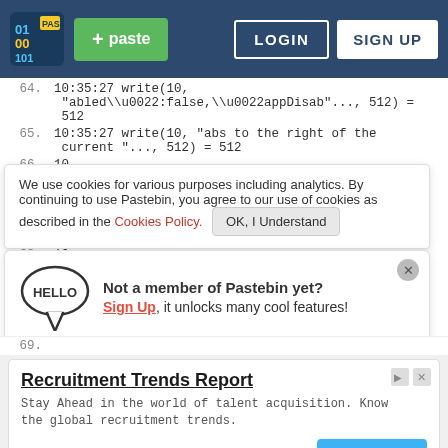Pastebin navigation bar with logo, paste button, login and sign up
64.  10:35:27 write(10, "abled\\u0022:false,\\u0022appDisab"..., 512) = 512
65.  10:35:27 write(10, "abs to the right of the current "..., 512) = 512
66.  10
We use cookies for various purposes including analytics. By continuing to use Pastebin, you agree to our use of cookies as described in the Cookies Policy.  OK, I Understand
"e
51
67.  10
Not a member of Pastebin yet? Sign Up, it unlocks many cool features!
"\
51
68.  10
[Figure (infographic): Recruitment Trends Report ad banner with Open button, RChilli Inc source]
69.